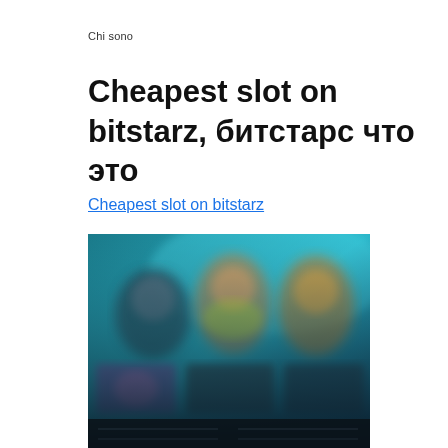Chi sono
Cheapest slot on bitstarz, битстарс что это
Cheapest slot on bitstarz
[Figure (screenshot): Blurred screenshot of a casino game lobby interface with colorful game thumbnails and characters on a teal/dark background]